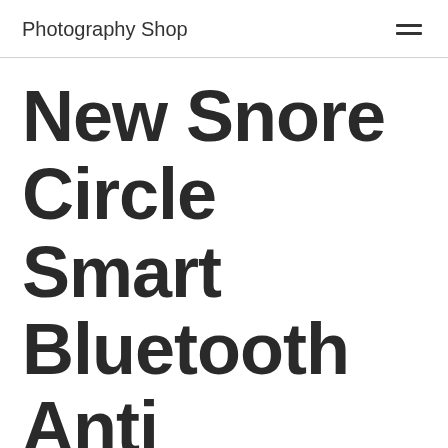Photography Shop
New Snore Circle Smart Bluetooth Anti Snoring Device Throat